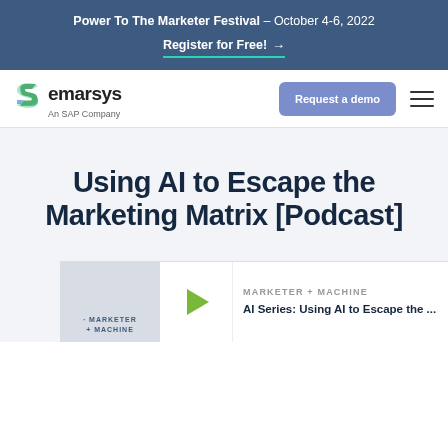Power To The Marketer Festival – October 4-6, 2022
Register for Free! →
[Figure (logo): Emarsys – An SAP Company logo with green stylized S icon]
Request a demo
Using AI to Escape the Marketing Matrix [Podcast]
MARKETER + MACHINE
AI Series: Using AI to Escape the ...